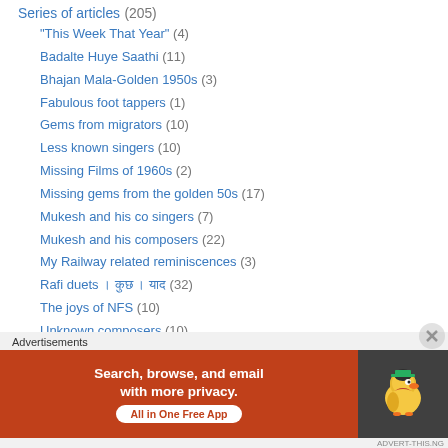Series of articles (205)
"This Week That Year" (4)
Badalte Huye Saathi (11)
Bhajan Mala-Golden 1950s (3)
Fabulous foot tappers (1)
Gems from migrators (10)
Less known singers (10)
Missing Films of 1960s (2)
Missing gems from the golden 50s (17)
Mukesh and his co singers (7)
Mukesh and his composers (22)
My Railway related reminiscences (3)
Rafi duets । कुछ । याद (32)
The joys of NFS (10)
Unknown composers (10)
Yearwise review of Lata Mangeshkar HF songs (63)
Series on basics of classical music (5)
Advertisements
[Figure (screenshot): DuckDuckGo advertisement banner: orange background with text 'Search, browse, and email with more privacy. All in One Free App' and DuckDuckGo logo on dark background]